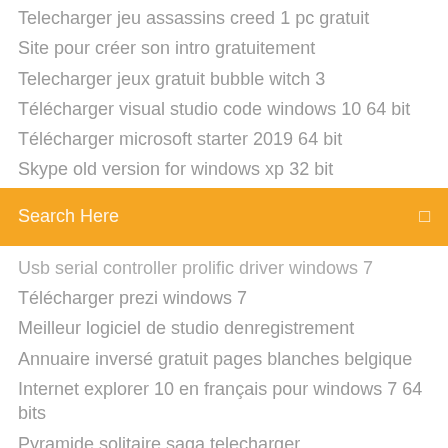Telecharger jeu assassins creed 1 pc gratuit
Site pour créer son intro gratuitement
Telecharger jeux gratuit bubble witch 3
Télécharger visual studio code windows 10 64 bit
Télécharger microsoft starter 2019 64 bit
Skype old version for windows xp 32 bit
Search Here
Usb serial controller prolific driver windows 7
Télécharger prezi windows 7
Meilleur logiciel de studio denregistrement
Annuaire inversé gratuit pages blanches belgique
Internet explorer 10 en français pour windows 7 64 bits
Pyramide solitaire saga telecharger
Mise a jour gps mappy maxi e618 gratuit
Comment mettre en veille macbook pro
Dvdfab blu-ray ripper crack
Best gratuit pc optimizer for windows 7
Usb serial controller prolific driver windows 7